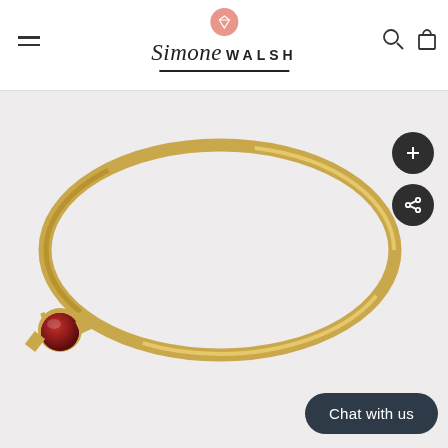Simone Walsh — website header with logo, navigation hamburger menu, search and cart icons
[Figure (photo): Gold ring with a dark red/burgundy cabochon gemstone set in a claw/crown setting, shown on a light grey background. The ring has a thin gold band forming an oval shape. Two circular dark buttons on the right side — a plus/zoom button and a share button. A 'Chat with us' button is visible at the bottom right.]